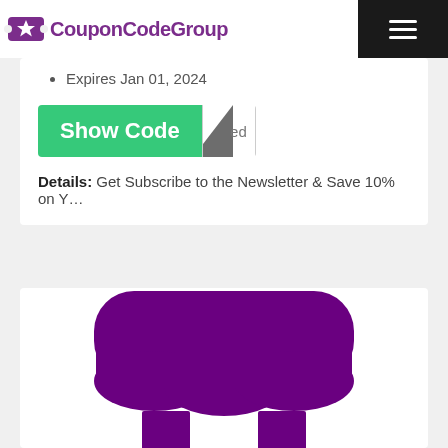CouponCodeGroup
Expires Jan 01, 2024
[Figure (other): Show Code button with green background and reveal arrow overlay]
Details: Get Subscribe to the Newsletter & Save 10% on Y…
[Figure (illustration): Purple store/shop awning icon with two pillars at the bottom]